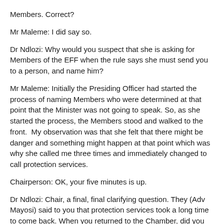Members. Correct?
Mr Maleme: I did say so.
Dr Ndlozi: Why would you suspect that she is asking for Members of the EFF when the rule says she must send you to a person, and name him?
Mr Maleme: Initially the Presiding Officer had started the process of naming Members who were determined at that point that the Minister was not going to speak. So, as she started the process, the Members stood and walked to the front. My observation was that she felt that there might be danger and something might happen at that point which was why she called me three times and immediately changed to call protection services.
Chairperson: OK, your five minutes is up.
Dr Ndlozi: Chair, a final, final clarifying question. They (Adv Mayosi) said to you that protection services took a long time to come back. When you returned to the Chamber, did you find the charged Members engaged in any violence?
Mr Maleme: No